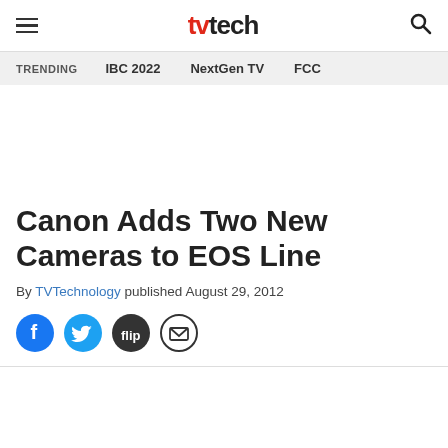tvtech — navigation header with hamburger menu, logo, and search icon
TRENDING   IBC 2022   NextGen TV   FCC
Canon Adds Two New Cameras to EOS Line
By TVTechnology published August 29, 2012
[Figure (infographic): Social sharing icons: Facebook (blue circle), Twitter (light blue circle), Flipboard (dark circle with 'flip' logo), Email (white circle with envelope)]